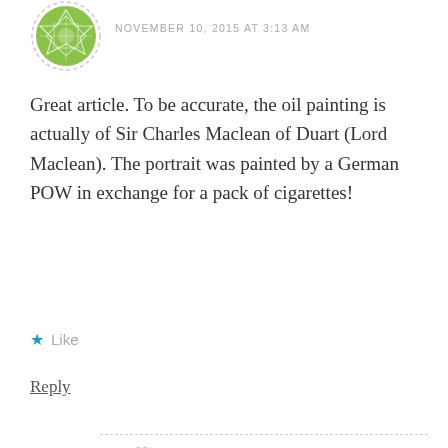[Figure (illustration): Green geometric/floral avatar icon with dashed circle border, top left]
NOVEMBER 10, 2015 AT 3:13 AM
Great article. To be accurate, the oil painting is actually of Sir Charles Maclean of Duart (Lord Maclean). The portrait was painted by a German POW in exchange for a pack of cigarettes!
★ Like
Reply
[Figure (illustration): Blue/navy geometric star pattern avatar icon with dashed circle border]
Donna MacLean Carson
NOVEMBER 11, 2015 AT 12:47 AM
Wow! Very interesting and thanks for the correction. I was thinking it didn't really look like him! Donna